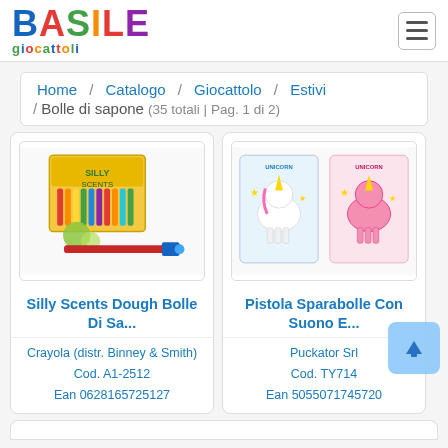BASILE giocattoli
Home / Catalogo / Giocattolo / Estivi / Bolle di sapone (35 totali | Pag. 1 di 2)
[Figure (photo): Product photo: Silly Scents Dough Bolle Di Sapone — colorful marker/crayon display box with a pen]
Silly Scents Dough Bolle Di Sa...
Crayola (distr. Binney & Smith)
Cod. A1-2512
Ean 0628165725127
[Figure (photo): Product photo: Pistola Sparabolle Con Suono E... — two unicorn bubble gun toys in packaging (white and pink)]
Pistola Sparabolle Con Suono E...
Puckator Srl
Cod. TY714
Ean 5055071745720